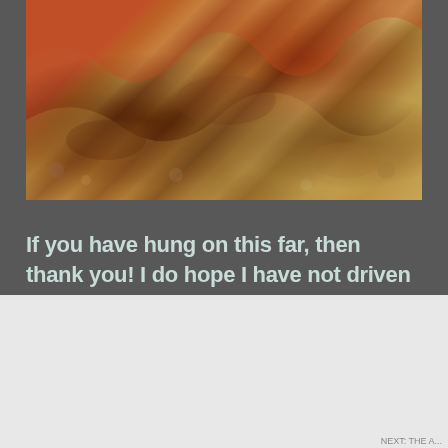[Figure (photo): Close-up photo of rocky terrain with orange-red and sandy brown colors, showing stones and rocky surface]
If you have hung on this far, then thank you! I do hope I have not driven you crazy with my wacko family adventures! If you get the opportunity to travel with OARS, you will not be disappointed. 😊💕
Advertisements:
[Figure (screenshot): DuckDuckGo advertisement banner with orange background showing 'Search, browse, and email with more privacy. All in One Free App' with phone mockup and DuckDuckGo logo]